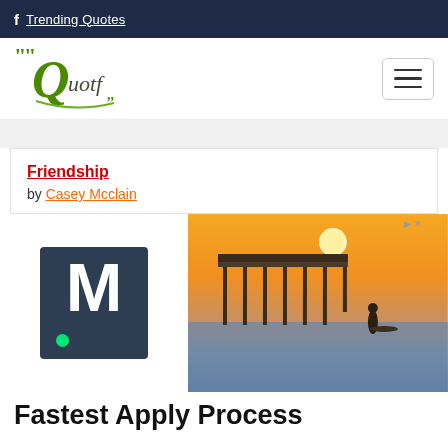Trending Quotes
[Figure (logo): Quotf logo with quotation marks styling]
Friendship by Casey Mcclain
[Figure (photo): Advertisement banner with M logo on dark background and pier/sunset beach photo]
Fastest Apply Process